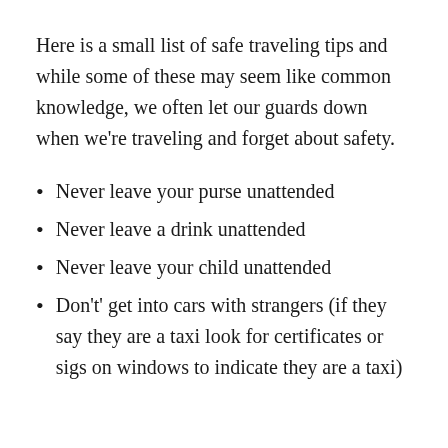Here is a small list of safe traveling tips and while some of these may seem like common knowledge, we often let our guards down when we're traveling and forget about safety.
Never leave your purse unattended
Never leave a drink unattended
Never leave your child unattended
Don't' get into cars with strangers (if they say they are a taxi look for certificates or sigs on windows to indicate they are a taxi)